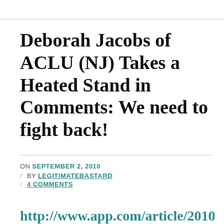Deborah Jacobs of ACLU (NJ) Takes a Heated Stand in Comments: We need to fight back!
ON SEPTEMBER 2, 2010 / BY LEGITIMATEBASTARD / 4 COMMENTS
http://www.app.com/article/2010